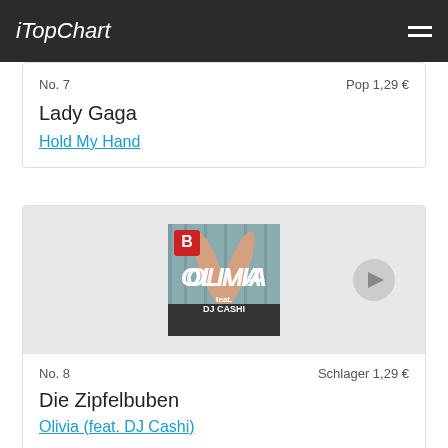iTopChart
No. 7   Pop 1,29 €
Lady Gaga
Hold My Hand
[Figure (photo): Album art for Olivia (feat. DJ Cashi) by Die Zipfelbuben showing crossed legs with the word OLIVIA and DJ Cashi text]
No. 8   Schlager 1,29 €
Die Zipfelbuben
Olivia (feat. DJ Cashi)